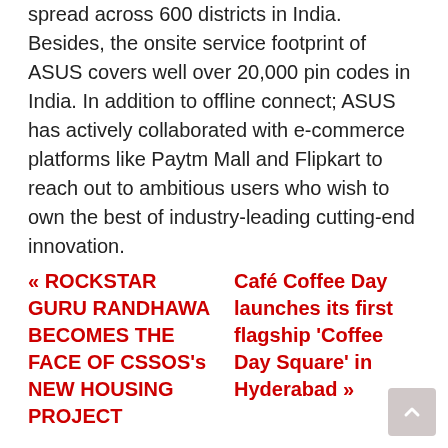spread across 600 districts in India. Besides, the onsite service footprint of ASUS covers well over 20,000 pin codes in India. In addition to offline connect; ASUS has actively collaborated with e-commerce platforms like Paytm Mall and Flipkart to reach out to ambitious users who wish to own the best of industry-leading cutting-end innovation.
« ROCKSTAR GURU RANDHAWA BECOMES THE FACE OF CSSOS's NEW HOUSING PROJECT
Café Coffee Day launches its first flagship 'Coffee Day Square' in Hyderabad »